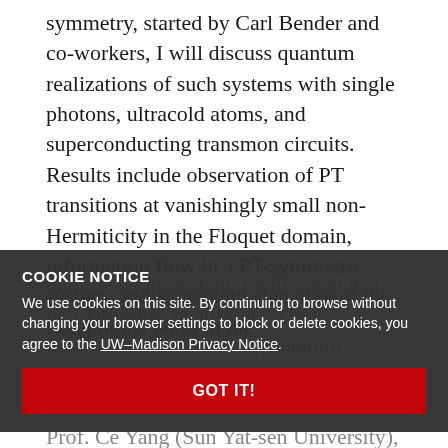symmetry, started by Carl Bender and co-workers, I will discuss quantum realizations of such systems with single photons, ultracold atoms, and superconducting transmon circuits. Results include observation of PT transitions at vanishingly small non-Hermiticity in the Floquet domain, information flow in a PT-symmetric system, and a quantum signature of the exceptional point in the qubit relaxation state. I will argue that non-Hermiticity provides a new dimension for exploring quantum systems. Work in collaboration with Dr. Anthony Laing (University of Bristol), Prof. Ce Yang (Sun Yat-sen University), and Prof. Kater Murch (Washington U.).
Host: Saffman
COOKIE NOTICE
We use cookies on this site. By continuing to browse without changing your browser settings to block or delete cookies, you agree to the UW–Madison Privacy Notice.